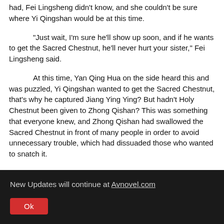had, Fei Lingsheng didn't know, and she couldn't be sure where Yi Qingshan would be at this time.
"Just wait, I'm sure he'll show up soon, and if he wants to get the Sacred Chestnut, he'll never hurt your sister," Fei Lingsheng said.
At this time, Yan Qing Hua on the side heard this and was puzzled, Yi Qingshan wanted to get the Sacred Chestnut, that's why he captured Jiang Ying Ying? But hadn't Holy Chestnut been given to Zhong Qishan? This was something that everyone knew, and Zhong Qishan had swallowed the Sacred Chestnut in front of many people in order to avoid unnecessary trouble, which had dissuaded those who wanted to snatch it.
New Updates will continue at Avnovel.com